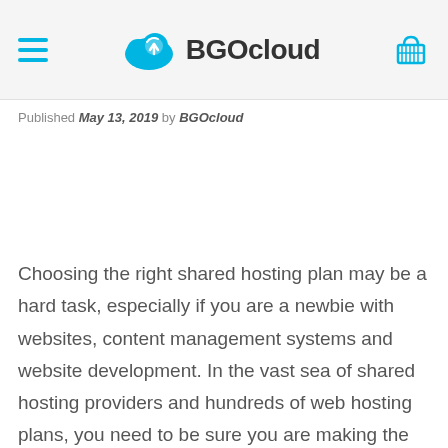BGOcloud
Published May 13, 2019 by BGOcloud
Choosing the right shared hosting plan may be a hard task, especially if you are a newbie with websites, content management systems and website development. In the vast sea of shared hosting providers and hundreds of web hosting plans, you need to be sure you are making the right